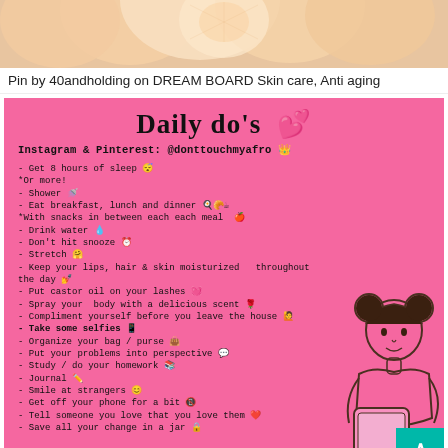[Figure (photo): Close-up photo of peach/cream colored flower petals with soft focus background]
Pin by 40andholding on DREAM BOARD Skin care, Anti aging
[Figure (infographic): Pink background infographic titled 'Daily do's' with heart emoji, Instagram & Pinterest handle @donttouchmyafro, and a list of daily self-care tasks in monospace font, with a cartoon girl illustration in bottom right corner]
- Get 8 hours of sleep 😴
*Or more!
- Shower 🚿
- Eat breakfast, lunch and dinner 🍳🥐☕
*With snacks in between each each meal 🍎
- Drink water 💧
- Don't hit snooze ⏰
- Stretch 🤗
- Keep your lips, hair & skin moisturized  throughout the day 💅
- Put castor oil on your lashes 💓
- Spray your  body with a delicious scent 🌹
- Compliment yourself before you leave the house 🙋
- Take some selfies 📱
- Organize your bag / purse 👜
- Put your problems into perspective 💬
- Study / do your homework 📚
- Journal ✏️
- Smile at strangers 😊
- Get off your phone for a bit 📵
- Tell someone you love that you love them ❤️
- Save all your change in a jar 🔓